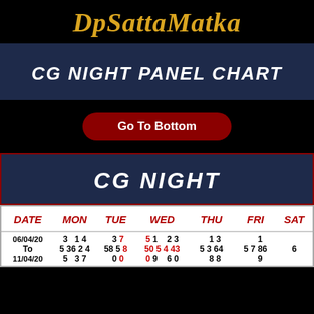DpSattaMatka
CG NIGHT PANEL CHART
Go To Bottom
CG NIGHT
| DATE | MON | TUE | WED | THU | FRI | SAT |
| --- | --- | --- | --- | --- | --- | --- |
| 06/04/20 | 3   1 4   3 | 7   5 1   2 | 3   1 3   1 |
| To | 5 36 2 4 58 5 | 8 50 5 4 43 5 | 3 64 5 7 86 6 |
| 11/04/20 | 5   3 7   0 | 0   0 9   6 | 0   8 8   9 |